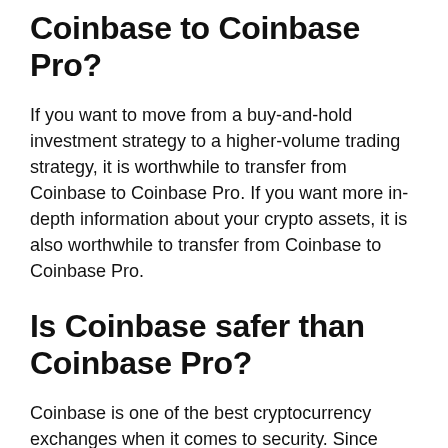Coinbase to Coinbase Pro?
If you want to move from a buy-and-hold investment strategy to a higher-volume trading strategy, it is worthwhile to transfer from Coinbase to Coinbase Pro. If you want more in-depth information about your crypto assets, it is also worthwhile to transfer from Coinbase to Coinbase Pro.
Is Coinbase safer than Coinbase Pro?
Coinbase is one of the best cryptocurrency exchanges when it comes to security. Since Coinbase and Coinbase Pro have the same security features, they're equal in this regard, and they're both among the safest...